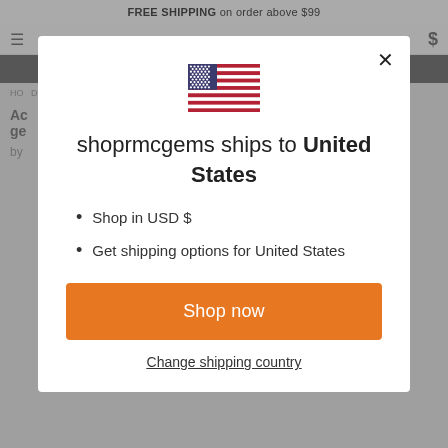FREE SHIPPING on order above $99
[Figure (screenshot): US flag icon]
shoprmcgems ships to United States
Shop in USD $
Get shipping options for United States
Shop now
Change shipping country